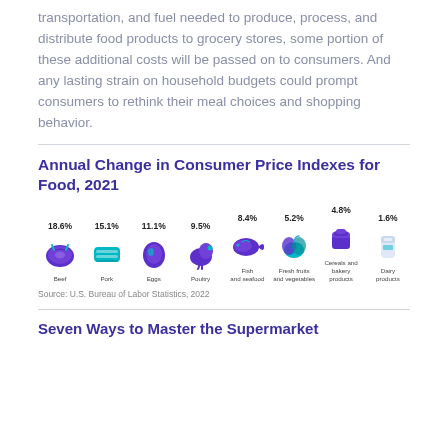transportation, and fuel needed to produce, process, and distribute food products to grocery stores, some portion of these additional costs will be passed on to consumers. And any lasting strain on household budgets could prompt consumers to rethink their meal choices and shopping behavior.
Annual Change in Consumer Price Indexes for Food, 2021
[Figure (infographic): Icons of food items with percentage price changes: Beef 18.6%, Pork 15.1%, Eggs 11.1%, Poultry 9.5%, Fish and seafood 8.4%, Fresh fruits and vegetables 5.2%, Cereals and bakery products 4.8%, Dairy products 1.6%]
Source: U.S. Bureau of Labor Statistics, 2022
Seven Ways to Master the Supermarket